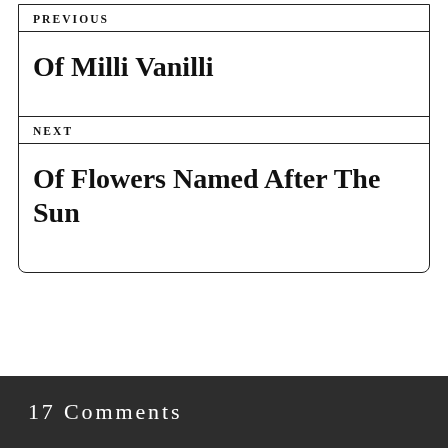PREVIOUS
Of Milli Vanilli
NEXT
Of Flowers Named After The Sun
17 Comments